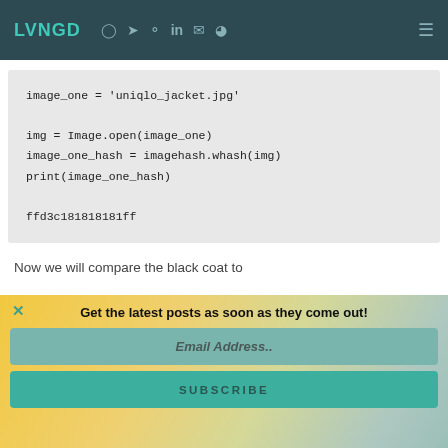LVNGD [nav icons] [hamburger menu]
image_one = 'uniqlo_jacket.jpg'

img = Image.open(image_one)
image_one_hash = imagehash.whash(img)
print(image_one_hash)

ffd3c181818181ff
Now we will compare the black coat to
× Get the latest posts as soon as they come out!
Email Address..
SUBSCRIBE